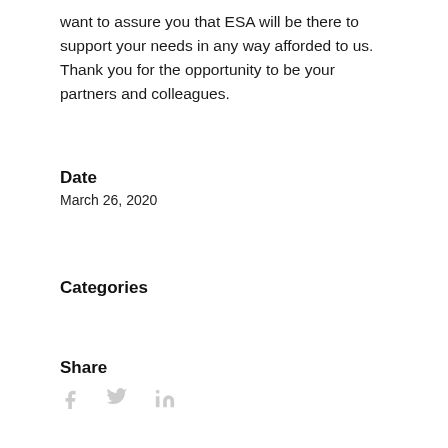want to assure you that ESA will be there to support your needs in any way afforded to us. Thank you for the opportunity to be your partners and colleagues.
Date
March 26, 2020
Categories
Share
[Figure (other): Social media share icons: Facebook (f), Twitter (bird), LinkedIn (in)]